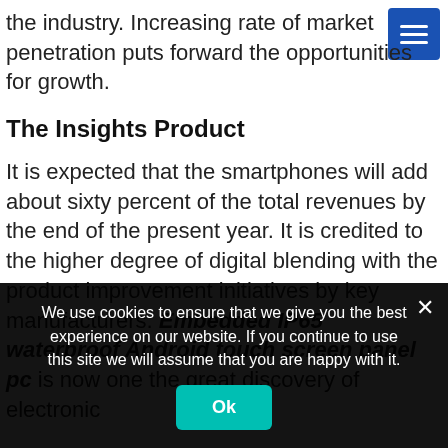the industry. Increasing rate of market penetration puts forward the opportunities for growth.
The Insights Product
It is expected that the smartphones will add about sixty percent of the total revenues by the end of the present year. It is credited to the higher degree of digital blending with the product improvement initiatives by key manufacturers. Embedded IP65 waterproof Android touch screen panel pc is now one the great discovery of electronic
We use cookies to ensure that we give you the best experience on our website. If you continue to use this site we will assume that you are happy with it.